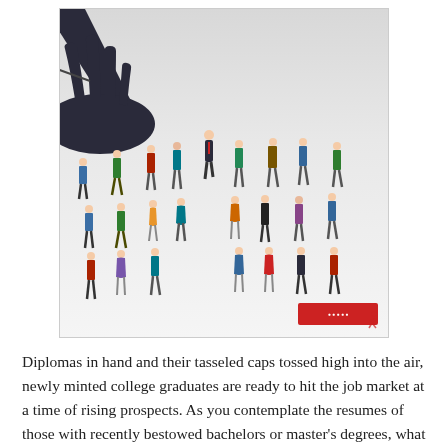[Figure (illustration): Illustration of a large dark hand from above picking up one person from a crowd of diverse people standing below, representing hiring/selection from a group of graduates.]
Diplomas in hand and their tasseled caps tossed high into the air, newly minted college graduates are ready to hit the job market at a time of rising prospects. As you contemplate the resumes of those with recently bestowed bachelors or master's degrees, what should you know about hiring new